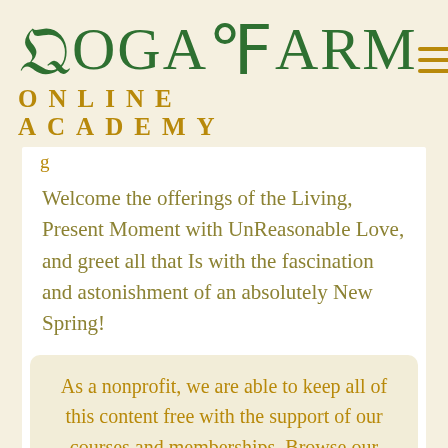[Figure (logo): Yoga Farm Online Academy logo with decorative green serif text and golden 'ONLINE ACADEMY' subtitle]
Welcome the offerings of the Living, Present Moment with UnReasonable Love, and greet all that Is with the fascination and astonishment of an absolutely New Spring!
As a nonprofit, we are able to keep all of this content free with the support of our courses and memberships. Browse our affordable online self-paced courses